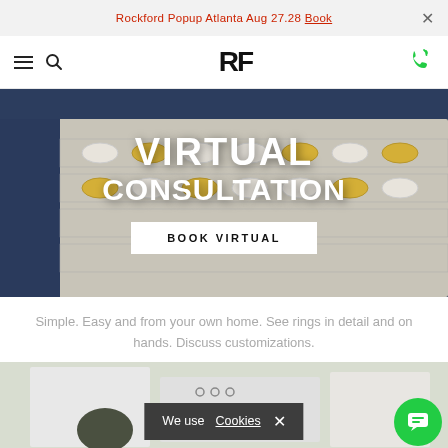Rockford Popup Atlanta Aug 27.28 Book
[Figure (screenshot): Navigation bar with hamburger menu, search icon, RF logo, and green phone icon]
[Figure (photo): Hero banner showing a display case of diamond rings with overlay text VIRTUAL CONSULTATION and a BOOK VIRTUAL button]
Simple. Easy and from your own home. See rings in detail and on hands. Discuss customizations.
[Figure (screenshot): Bottom section showing partial store interior image with a cookie consent bar reading 'We use Cookies X' and a green chat button]